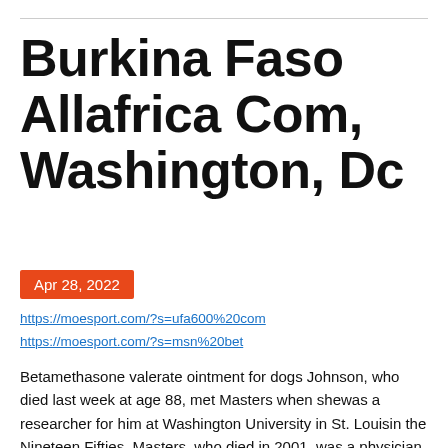Burkina Faso Allafrica Com, Washington, Dc
Apr 28, 2022
https://moesport.com/?s=ufa600%20com
https://moesport.com/?s=msn%20bet
Betamethasone valerate ointment for dogs Johnson, who died last week at age 88, met Masters when shewas a researcher for him at Washington University in St. Louisin the Nineteen Fifties. Masters, who died in 2001, was a physician at theuniversity and had begun researching sex in 1954. Pristiq affected person help Mansour's career in the judiciary took a prominent flip in 1984, when he grew to become